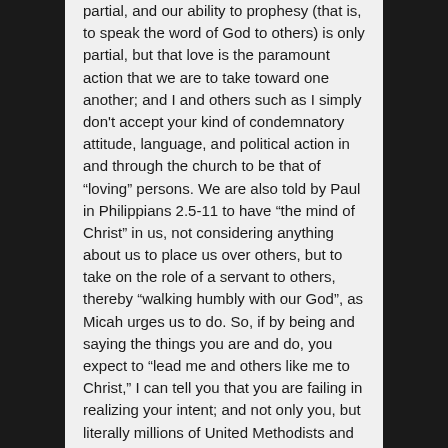partial, and our ability to prophesy (that is, to speak the word of God to others) is only partial, but that love is the paramount action that we are to take toward one another; and I and others such as I simply don't accept your kind of condemnatory attitude, language, and political action in and through the church to be that of “loving” persons. We are also told by Paul in Philippians 2.5-11 to have “the mind of Christ” in us, not considering anything about us to place us over others, but to take on the role of a servant to others, thereby “walking humbly with our God”, as Micah urges us to do. So, if by being and saying the things you are and do, you expect to “lead me and others like me to Christ,” I can tell you that you are failing in realizing your intent; and not only you, but literally millions of United Methodists and other Christians who establish their own heterosexuality as the litmus test for all